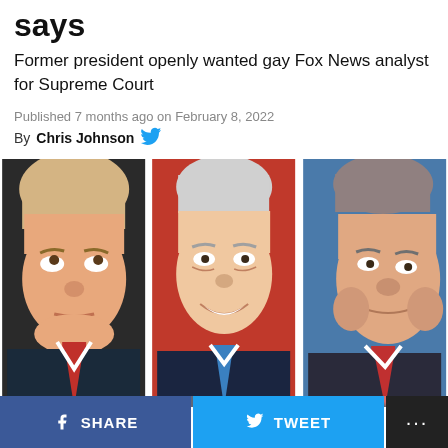says
Former president openly wanted gay Fox News analyst for Supreme Court
Published 7 months ago on February 8, 2022
By Chris Johnson
[Figure (photo): Three side-by-side photos: Donald Trump looking upward, Mike Pence smiling, and a third man (Fox News analyst) in profile]
SHARE
TWEET